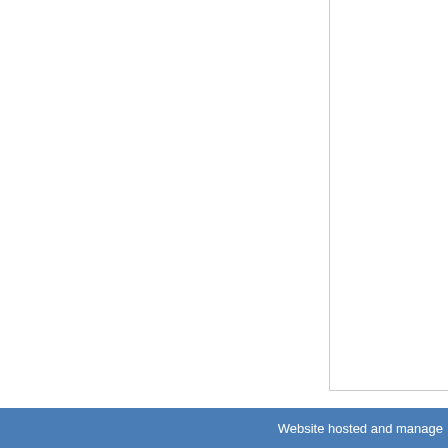Posted by David Lloyd on Monday, July 6, 2009 -
« previous page  (Page 1 of 1, totaling 2 entries)  next p
Website hosted and manage